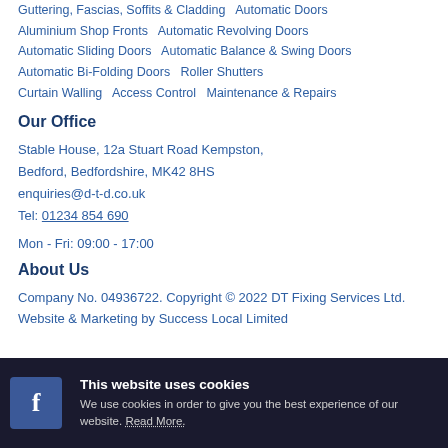Guttering, Fascias, Soffits & Cladding   Automatic Doors   Aluminium Shop Fronts   Automatic Revolving Doors   Automatic Sliding Doors   Automatic Balance & Swing Doors   Automatic Bi-Folding Doors   Roller Shutters   Curtain Walling   Access Control   Maintenance & Repairs
Our Office
Stable House, 12a Stuart Road Kempston, Bedford, Bedfordshire, MK42 8HS
enquiries@d-t-d.co.uk
Tel: 01234 854 690
Mon - Fri: 09:00 - 17:00
About Us
Company No. 04936722. Copyright © 2022 DT Fixing Services Ltd. Website & Marketing by Success Local Limited
This website uses cookies
We use cookies in order to give you the best experience of our website. Read More.